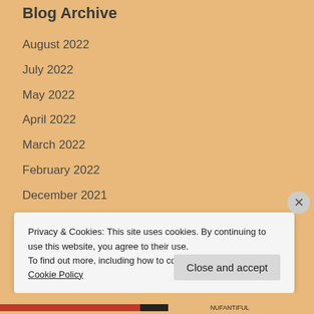Blog Archive
August 2022
July 2022
May 2022
April 2022
March 2022
February 2022
December 2021
November 2021
Privacy & Cookies: This site uses cookies. By continuing to use this website, you agree to their use.
To find out more, including how to control cookies, see here: Cookie Policy